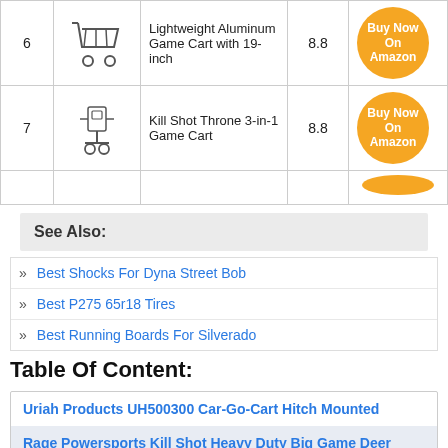| # | Image | Product | Score | Action |
| --- | --- | --- | --- | --- |
| 6 | [image] | Lightweight Aluminum Game Cart with 19-inch | 8.8 | Buy Now On Amazon |
| 7 | [image] | Kill Shot Throne 3-in-1 Game Cart | 8.8 | Buy Now On Amazon |
| 8 | [image] | ... | ... | Buy Now On Amazon (partial) |
See Also:
Best Shocks For Dyna Street Bob
Best P275 65r18 Tires
Best Running Boards For Silverado
Table Of Content:
Uriah Products UH500300 Car-Go-Cart Hitch Mounted
Rage Powersports Kill Shot Heavy Duty Big Game Deer